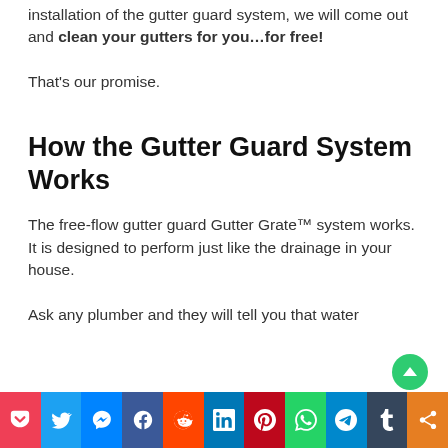installation of the gutter guard system, we will come out and clean your gutters for you…for free!
That's our promise.
How the Gutter Guard System Works
The free-flow gutter guard Gutter Grate™ system works. It is designed to perform just like the drainage in your house.
Ask any plumber and they will tell you that water
[Figure (infographic): Social sharing bar with icons: Pocket (red), Twitter (blue), Messenger (blue), Facebook (blue), Reddit (orange-red), LinkedIn (blue), Pinterest (red), WhatsApp (green), Telegram (blue), Tumblr (dark blue), Share (orange)]